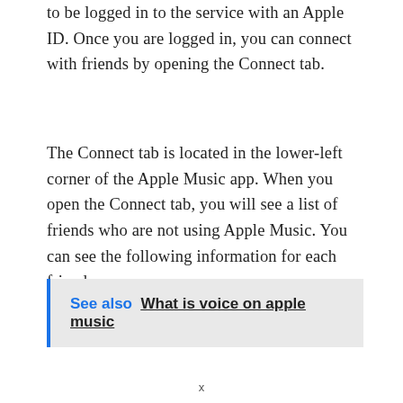To connect with friends on Apple Music, you need to be logged in to the service with an Apple ID. Once you are logged in, you can connect with friends by opening the Connect tab.
The Connect tab is located in the lower-left corner of the Apple Music app. When you open the Connect tab, you will see a list of friends who are not using Apple Music. You can see the following information for each friend:
See also  What is voice on apple music
x